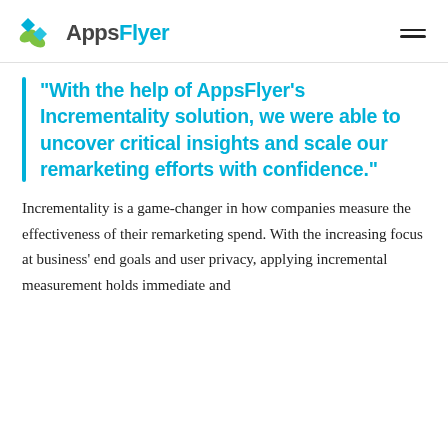AppsFlyer
“With the help of AppsFlyer’s Incrementality solution, we were able to uncover critical insights and scale our remarketing efforts with confidence.”
Incrementality is a game-changer in how companies measure the effectiveness of their remarketing spend. With the increasing focus at business’ end goals and user privacy, applying incremental measurement holds immediate and